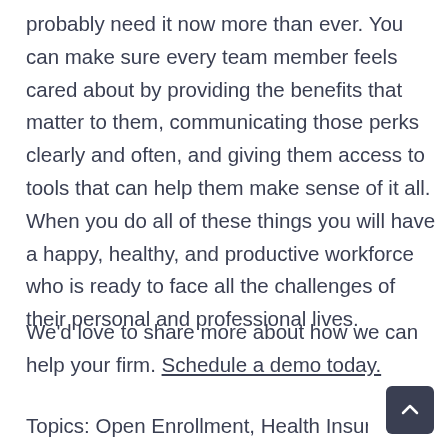probably need it now more than ever. You can make sure every team member feels cared about by providing the benefits that matter to them, communicating those perks clearly and often, and giving them access to tools that can help them make sense of it all. When you do all of these things you will have a happy, healthy, and productive workforce who is ready to face all the challenges of their personal and professional lives.
We'd love to share more about how we can help your firm. Schedule a demo today.
Topics: Open Enrollment, Health Insurance, HR Te...